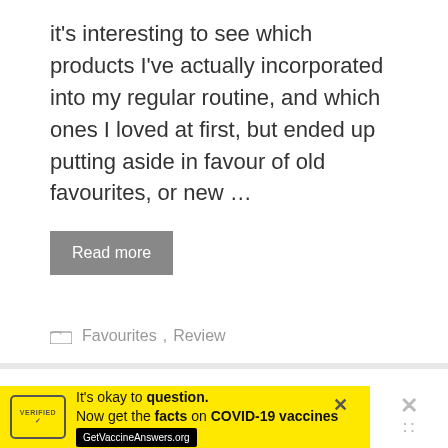it's interesting to see which products I've actually incorporated into my regular routine, and which ones I loved at first, but ended up putting aside in favour of old favourites, or new …
Read more
Favourites, Review
SPRING SKINCARE REGIMEN 1: CLEANSERS AND SERUMS
September 30, 2018
It's okay to question. Now get the facts on COVID-19 vaccines GetVaccineAnswers.org